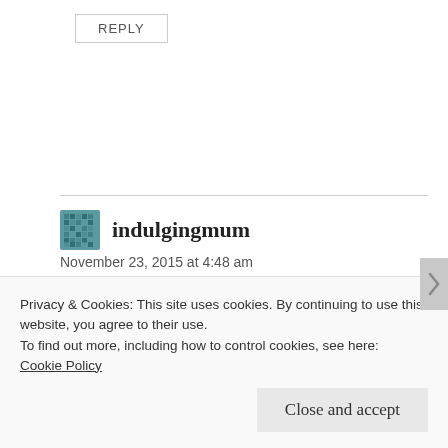REPLY
indulgingmum
November 23, 2015 at 4:48 am
Laughed out loud at this ( have been banned from using LOL by my kids) we have a similar issue in Northern Ireland but my daughter was
Privacy & Cookies: This site uses cookies. By continuing to use this website, you agree to their use.
To find out more, including how to control cookies, see here: Cookie Policy
Close and accept